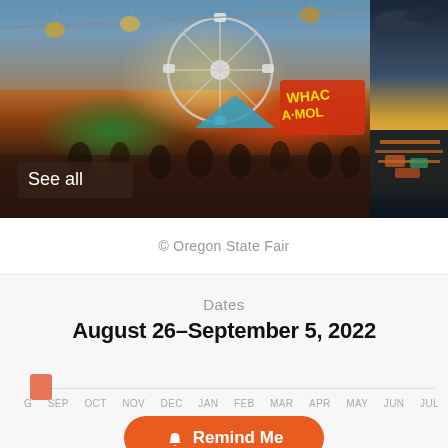[Figure (photo): Two photos side by side: left larger photo shows a carnival/state fair scene with a Ferris wheel, sky chair rides, and colorful game booths with crowds below at dusk. Right smaller photo shows an aerial view of the fairgrounds at dusk.]
See all
© Oregon State Fair
Dates
August 26–September 5, 2022
[Figure (other): Timeline bar showing a small orange/salmon block near the August marker, with month labels: G, SEP, OCT, NOV, DEC, JAN, FEB, MAR, APR, MAY, JUN, JUL]
Remind Me